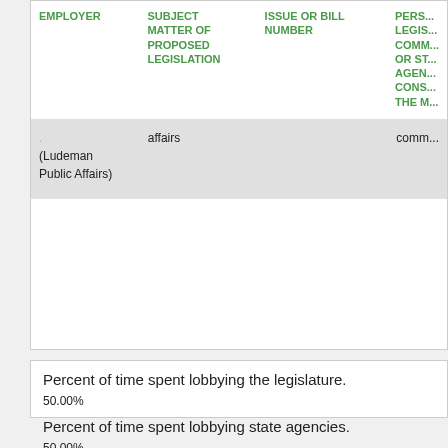| EMPLOYER | SUBJECT MATTER OF PROPOSED LEGISLATION | ISSUE OR BILL NUMBER | PERSON LEGISL... COMM... OR ST... AGEN... CONS... THE M... |
| --- | --- | --- | --- |
| (Ludeman Public Affairs) | affairs |  | comm... |
Percent of time spent lobbying the legislature.
50.00%
Percent of time spent lobbying state agencies.
50.00%